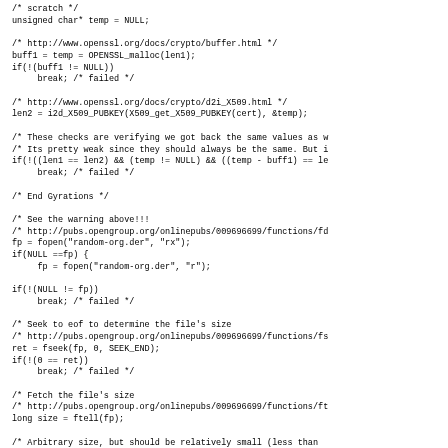/* scratch */
unsigned char* temp = NULL;

/* http://www.openssl.org/docs/crypto/buffer.html */
buff1 = temp = OPENSSL_malloc(len1);
if(!(buff1 != NULL))
    break; /* failed */

/* http://www.openssl.org/docs/crypto/d2i_X509.html */
len2 = i2d_X509_PUBKEY(X509_get_X509_PUBKEY(cert), &temp);

/* These checks are verifying we got back the same values as w
/* Its pretty weak since they should always be the same. But i
if(!((len1 == len2) && (temp != NULL) && ((temp - buff1) == le
    break; /* failed */

/* End Gyrations */

/* See the warning above!!!
/* http://pubs.opengroup.org/onlinepubs/009696699/functions/fd
fp = fopen("random-org.der", "rx");
if(NULL ==fp) {
    fp = fopen("random-org.der", "r");

if(!(NULL != fp))
    break; /* failed */

/* Seek to eof to determine the file's size
/* http://pubs.opengroup.org/onlinepubs/009696699/functions/fs
ret = fseek(fp, 0, SEEK_END);
if(!(0 == ret))
    break; /* failed */

/* Fetch the file's size
/* http://pubs.opengroup.org/onlinepubs/009696699/functions/ft
long size = ftell(fp);

/* Arbitrary size, but should be relatively small (less than